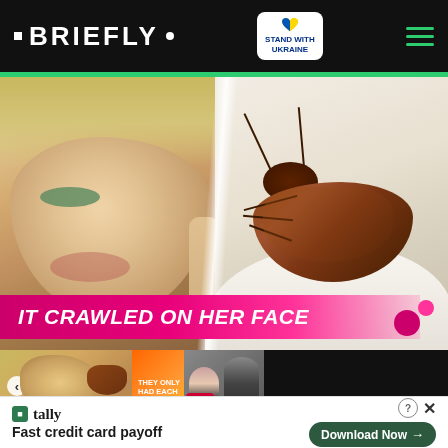• BRIEFLY •
[Figure (screenshot): Website screenshot of Briefly news homepage showing a split image: left side shows a scared woman's face (blonde, wet hair, alarmed expression), right side shows a large cockroach on a pile of white sugar/crystals. Below is a pink gradient banner with headline text 'IT CRAWLED ON HER FACE'. Below that is a thumbnail carousel with story previews. Bottom has a Tally ad for 'Fast credit card payoff' with Download Now button.]
IT CRAWLED ON HER FACE
IT CRAWLED ON HER FACE
THEY ONLY HAD EACH OTHER
🔲 tally
Fast credit card payoff
Download Now →